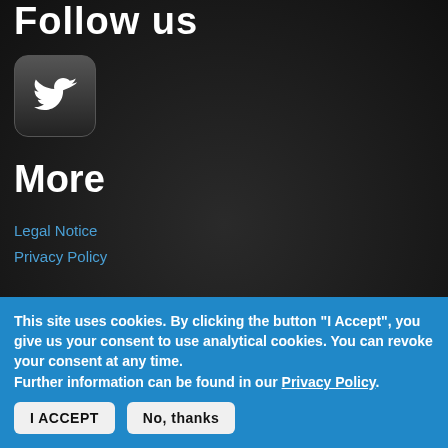Follow us
[Figure (logo): Twitter bird logo in a rounded rectangle button with dark gradient background]
More
Legal Notice
Privacy Policy
Best-in-class E-Learning Courses for Office 365, Microsoft Office 365 Upgrades and Migrations, Microsoft Teams Collaboration,
This site uses cookies. By clicking the button "I Accept", you give us your consent to use analytical cookies. You can revoke your consent at any time.
Further information can be found in our Privacy Policy.